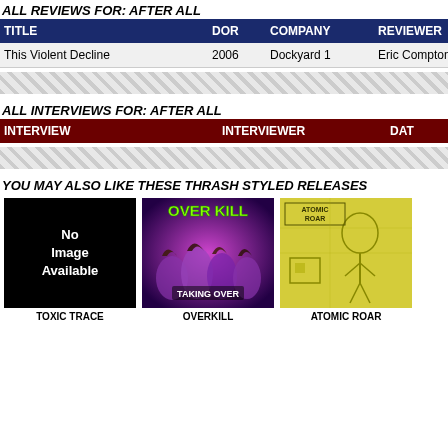ALL REVIEWS FOR: AFTER ALL
| TITLE | DOR | COMPANY | REVIEWER |
| --- | --- | --- | --- |
| This Violent Decline | 2006 | Dockyard 1 | Eric Compton |
ALL INTERVIEWS FOR: AFTER ALL
| INTERVIEW | INTERVIEWER | DATE |
| --- | --- | --- |
YOU MAY ALSO LIKE THESE THRASH STYLED RELEASES
[Figure (photo): No Image Available placeholder (black background, white text)]
TOXIC TRACE
[Figure (photo): Overkill - Taking Over album cover with band photo on purple background with green logo]
OVERKILL
[Figure (photo): Atomic Roar album cover with yellow/monochrome illustration]
ATOMIC ROAR